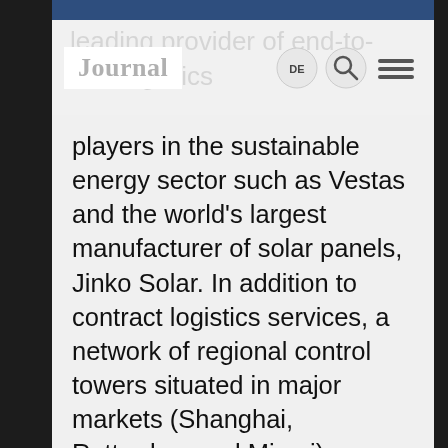Journal
leading provider of end-to-end logistics players in the sustainable energy sector such as Vestas and the world's largest manufacturer of solar panels, Jinko Solar. In addition to contract logistics services, a network of regional control towers situated in major markets (Shanghai, Rotterdam and Miami) provides for a one-stop shop for utility-scale projects around the globe.
“Hellmann Worldwide Logistics has joined Vestas America Wind Technology as a key player in our distribution logistics, supporting the service supply chain,” said Scott Benedetti, Head of Supply Chain Operations of Vestas North...